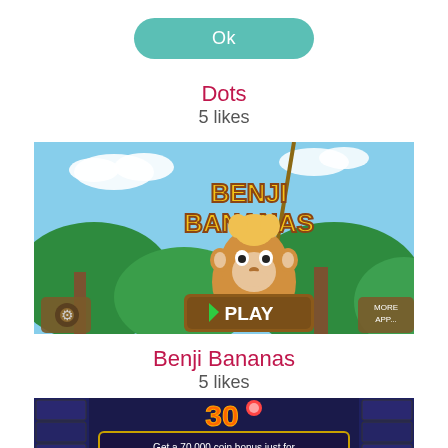Ok
Dots
5 likes
[Figure (screenshot): Benji Bananas game screenshot showing a cartoon monkey character with blonde hair holding a vine, with PLAY button and game logo. Settings gear icon on left, MORE APPS button on right.]
Benji Bananas
5 likes
[Figure (screenshot): Mobile game screenshot showing a dark blue stone temple background with a '30' logo, promotional text 'Get a 70,000 coin bonus just for logging in to Facebook!' and a gold PLAY NOW button.]